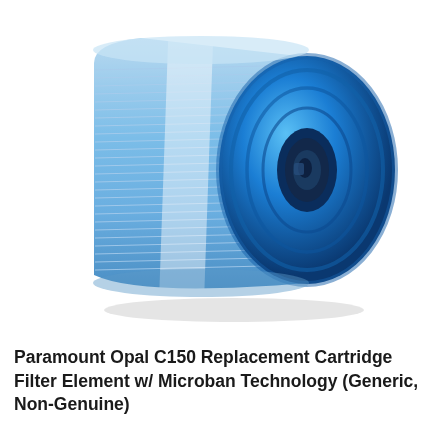[Figure (photo): A blue cylindrical pool/spa filter cartridge element (Paramount Opal C150 replacement) shown at a slight angle, with blue pleated filter media visible on the body and a solid blue circular end cap facing the viewer. The end cap has concentric rings and a central opening/port. The overall shape is a cylinder viewed from the front-right.]
Paramount Opal C150 Replacement Cartridge Filter Element w/ Microban Technology (Generic, Non-Genuine)